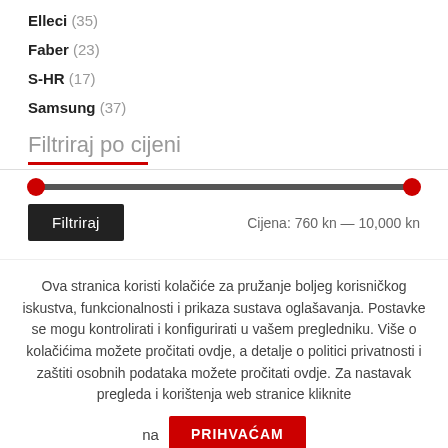Elleci (35)
Faber (23)
S-HR (17)
Samsung (37)
Filtriraj po cijeni
[Figure (other): Price range slider with two red handles on a dark track]
Filtriraj  Cijena: 760 kn — 10,000 kn
Ova stranica koristi kolačiće za pružanje boljeg korisničkog iskustva, funkcionalnosti i prikaza sustava oglašavanja. Postavke se mogu kontrolirati i konfigurirati u vašem pregledniku. Više o kolačićima možete pročitati ovdje, a detalje o politici privatnosti i zaštiti osobnih podataka možete pročitati ovdje. Za nastavak pregleda i korištenja web stranice kliknite na PRIHVAĆAM